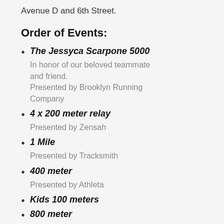Avenue D and 6th Street.
Order of Events:
The Jessyca Scarpone 5000
In honor of our beloved teammate and friend.
Presented by Brooklyn Running Company
4 x 200 meter relay
Presented by Zensah
1 Mile
Presented by Tracksmith
400 meter
Presented by Athleta
Kids 100 meters
800 meter